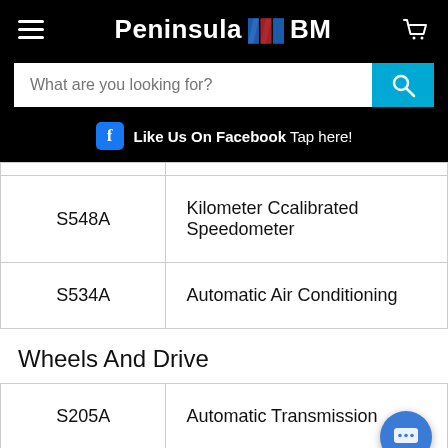Peninsula BM
What are you looking for?
Like Us On Facebook  Tap here!
| Code | Description |
| --- | --- |
| S548A | Kilometer Ccalibrated Speedometer |
| S534A | Automatic Air Conditioning |
Wheels And Drive
| Code | Description |
| --- | --- |
| S205A | Automatic Transmission |
| S226A | Sports Suspension Settings |